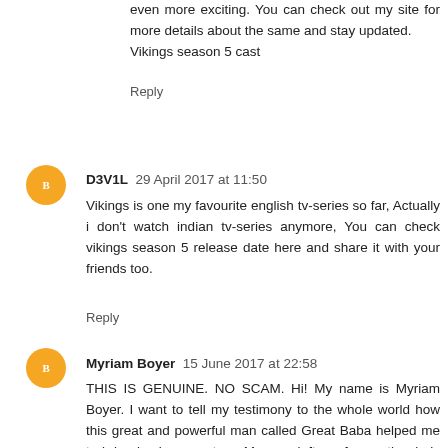even more exciting. You can check out my site for more details about the same and stay updated.
Vikings season 5 cast
Reply
D3V1L  29 April 2017 at 11:50
Vikings is one my favourite english tv-series so far, Actually i don't watch indian tv-series anymore, You can check vikings season 5 release date here and share it with your friends too.
Reply
Myriam Boyer  15 June 2017 at 22:58
THIS IS GENUINE. NO SCAM. Hi! My name is Myriam Boyer. I want to tell my testimony to the whole world how this great and powerful man called Great Baba helped me to bring back my partner. My man left me for another lady for five years. I almost gave up until my friend advised me and introduced me to this great man whom she met on the